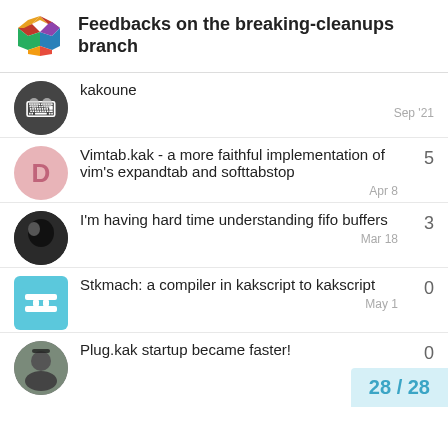Feedbacks on the breaking-cleanups branch
kakoune — Sep '21
Vimtab.kak - a more faithful implementation of vim's expandtab and softtabstop — Apr 8 — 5
I'm having hard time understanding fifo buffers — Mar 18 — 3
Stkmach: a compiler in kakscript to kakscript — May 1 — 0
Plug.kak startup became faster! — 0
28 / 28